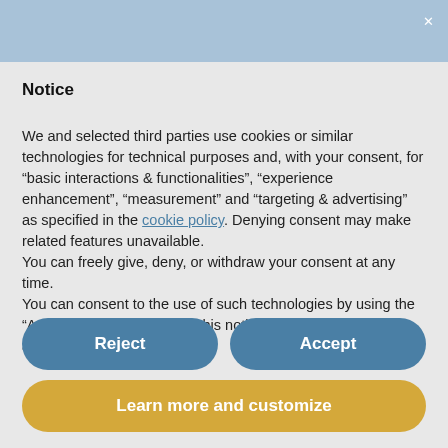Notice
We and selected third parties use cookies or similar technologies for technical purposes and, with your consent, for “basic interactions & functionalities”, “experience enhancement”, “measurement” and “targeting & advertising” as specified in the cookie policy. Denying consent may make related features unavailable.
You can freely give, deny, or withdraw your consent at any time.
You can consent to the use of such technologies by using the “Accept” button. By closing this notice, you continue without accepting.
Reject
Accept
Learn more and customize